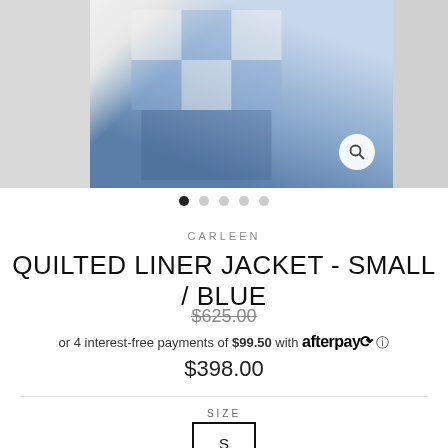[Figure (photo): Product photo of a quilted liner jacket in blue patchwork pattern, shown on a model, with carousel navigation dots below]
CARLEEN
QUILTED LINER JACKET - SMALL / BLUE
$625.00 (strikethrough original price)
or 4 interest-free payments of $99.50 with afterpay
$398.00
SIZE
S
COLOR